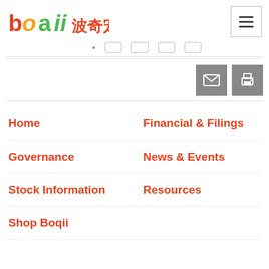[Figure (logo): Boqii pet company logo with colorful letters 'boqii' and Chinese characters '波奇宠物']
[Figure (screenshot): Navigation hamburger menu button (three horizontal lines) in top right corner]
[Figure (screenshot): Email and print icon buttons in gray squares]
Home
Financial & Filings
Governance
News & Events
Stock Information
Resources
Shop Boqii